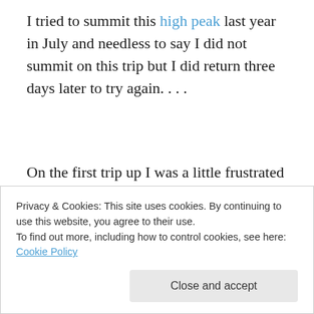I tried to summit this high peak last year in July and needless to say I did not summit on this trip but I did return three days later to try again. . . .
On the first trip up I was a little frustrated since I was not near the peak and just had to make the best of the situation. Along the way at the point where my sunrise destination had to be improvised, I encountered the first
Privacy & Cookies: This site uses cookies. By continuing to use this website, you agree to their use.
To find out more, including how to control cookies, see here: Cookie Policy